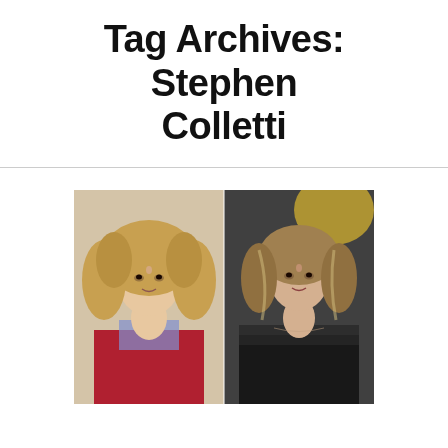Tag Archives: Stephen Colletti
[Figure (photo): Side-by-side comparison photos of a woman: on the left, a younger version with curly blonde hair wearing a red and silver outfit; on the right, an older version with wavy highlighted hair wearing a black outfit, photographed at a formal event.]